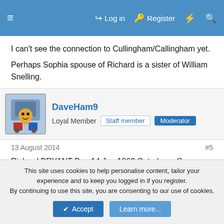≡  Log in  Register  ⚡  🔍
I can't see the connection to Cullingham/Callingham yet.
Perhaps Sophia spouse of Richard is a sister of William Snelling.
DaveHam9
Loyal Member  Staff member  Moderator
13 August 2014  #5
Richard BRYANT Bap 14 Jun 1863 Caterham, Surrey
Not with family
This site uses cookies to help personalise content, tailor your experience and to keep you logged in if you register.
By continuing to use this site, you are consenting to our use of cookies.
Accept  Learn more...